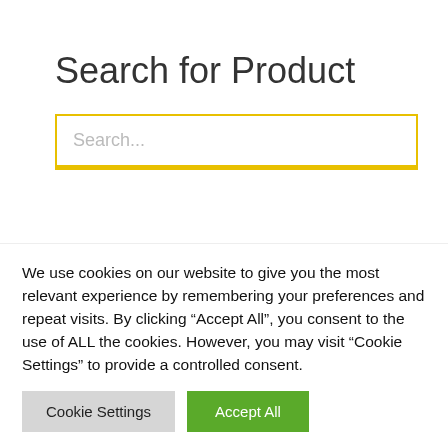Search for Product
Search...
Service and Adjustment Programs
Epson
Toshiba
Service Manuals and Parts Guide Manuals for
We use cookies on our website to give you the most relevant experience by remembering your preferences and repeat visits. By clicking “Accept All”, you consent to the use of ALL the cookies. However, you may visit “Cookie Settings” to provide a controlled consent.
Cookie Settings
Accept All